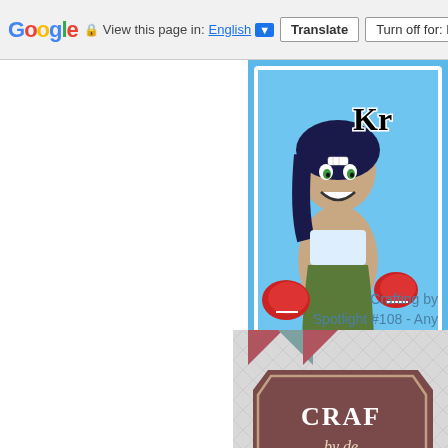View this page in: English ▼  Translate  Turn off for: B
[Figure (illustration): Cartoon girl with boxing gloves on blue background with stars, partially cropped on right side. Text partially visible: 'Kr']
Crafting by...
Spotlight #108 - Any...
[Figure (logo): Crafting by design logo with triangular pennants on geometric patterned background. Shows 'CRAF... by de...' text in a brown banner and 'Design Tea... FA...' below]